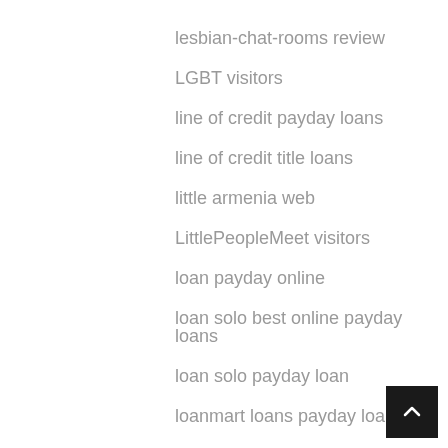lesbian-chat-rooms review
LGBT visitors
line of credit payday loans
line of credit title loans
little armenia web
LittlePeopleMeet visitors
loan payday online
loan solo best online payday loans
loan solo payday loan
loanmart loans payday loans
loans angel loans best online payday loans
loans angel loans payday loans near me
loans for bad credit